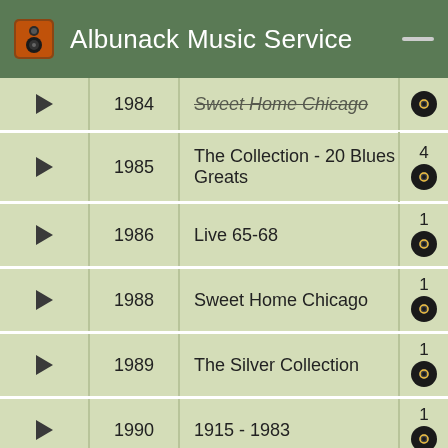Albunack Music Service
| Play | Year | Title | Tracks |
| --- | --- | --- | --- |
| ▶ | 1984 | Sweet Home Chicago | ● |
| ▶ | 1985 | The Collection - 20 Blues Greats | 4 ● |
| ▶ | 1986 | Live 65-68 | 1 ● |
| ▶ | 1988 | Sweet Home Chicago | 1 ● |
| ▶ | 1989 | The Silver Collection | 1 ● |
| ▶ | 1990 | 1915 - 1983 | 1 ● |
| ▶ | 1992 | Funky Butt | 2 ● |
| ▶ | 1995 | The Very Best Of | 1 |